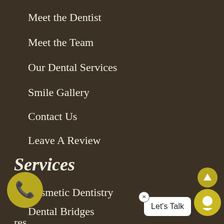Meet the Dentist
Meet the Team
Our Dental Services
Smile Gallery
Contact Us
Leave A Review
Services
Cosmetic Dentistry
Dental Bridges
res
Laser Dentistry
[Figure (illustration): Phone call button (golden circle with phone handset icon)]
[Figure (illustration): Chat widget with 'Let's Talk' speech bubble and close button, with golden chat icons]